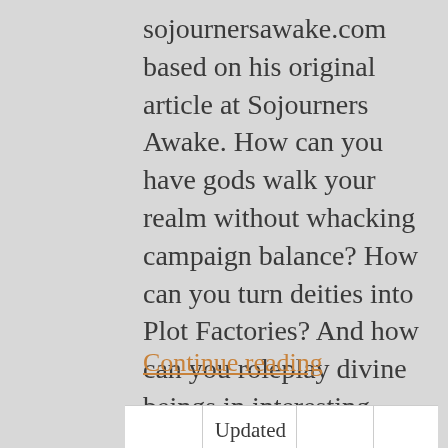sojournersawake.com based on his original article at Sojourners Awake. How can you have gods walk your realm without whacking campaign balance? How can you turn deities into Plot Factories? And how can you roleplay divine beings in interesting ways that do not spell [...]
Continue reading
|  | Updated |  |  |
| --- | --- | --- | --- |
| Johnn | August 15, | World |  |